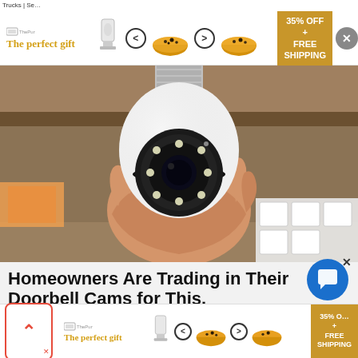Trucks | Se…
[Figure (screenshot): Top advertisement banner: 'The perfect gift' with product images of kitchen items and a bowl of food, navigation arrows, and gold offer badge showing '35% OFF + FREE SHIPPING', with close button]
[Figure (photo): A hand holding a white security camera shaped like a light bulb, with a light socket screw base at top and a circular camera lens with LED lights at front, set against a wooden shelf background]
Homeowners Are Trading in Their Doorbell Cams for This.
Keillini | Sponsored
[Figure (screenshot): Bottom advertisement banner same as top: 'The perfect gift' with kitchen product images, navigation arrows, bowl of food image, and '35% OFF + FREE SHIPPING' gold badge]